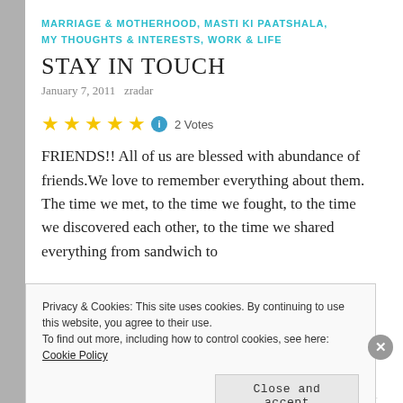MARRIAGE & MOTHERHOOD, MASTI KI PAATSHALA, MY THOUGHTS & INTERESTS, WORK & LIFE
STAY IN TOUCH
January 7, 2011   zradar
[Figure (other): Five gold star rating icons followed by an info icon and '2 Votes' label]
FRIENDS!! All of us are blessed with abundance of friends.We love to remember everything about them. The time we met, to the time we fought, to the time we discovered each other, to the time we shared everything from sandwich to
Privacy & Cookies: This site uses cookies. By continuing to use this website, you agree to their use.
To find out more, including how to control cookies, see here: Cookie Policy
Close and accept